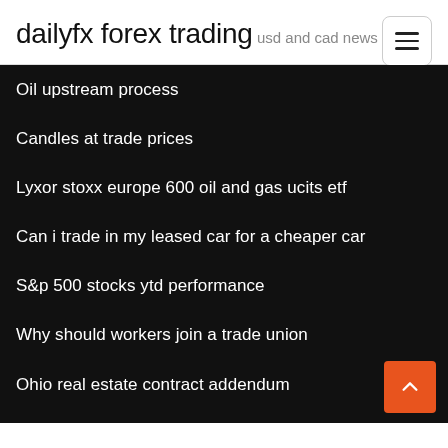dailyfx forex trading
usd and cad news
Oil upstream process
Candles at trade prices
Lyxor stoxx europe 600 oil and gas ucits etf
Can i trade in my leased car for a cheaper car
S&p 500 stocks ytd performance
Why should workers join a trade union
Ohio real estate contract addendum
What is the difference between a gantt chart and network diagram
Online idea bill payment